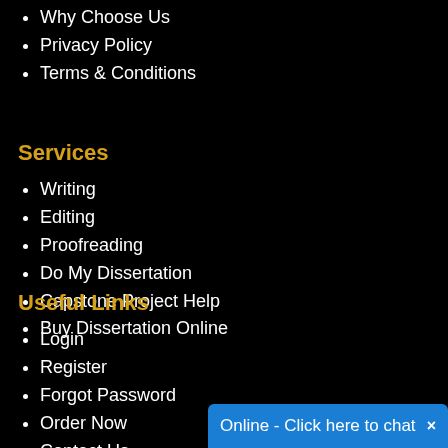Why Choose Us
Privacy Policy
Terms & Conditions
Services
Writing
Editing
Proofreading
Do My Dissertation
Capstone Project Help
Buy Dissertation Online
Useful Links
Login
Register
Forgot Password
Order Now
Contact Us
Student Queries
Our Samples
Customer Rev...
Online - Click here to chat